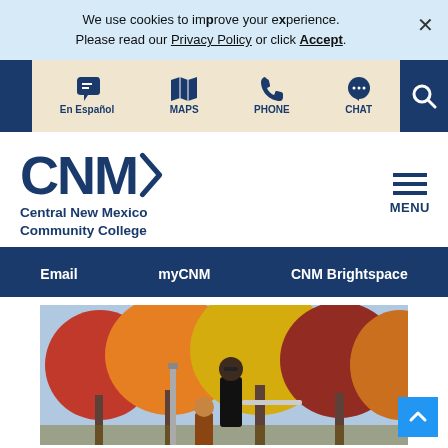We use cookies to improve your experience. Please read our Privacy Policy or click Accept.
En Español | MAPS | PHONE | CHAT | Search
[Figure (logo): CNM Central New Mexico Community College logo with arrow]
MENU
Email | myCNM | CNM Brightspace
[Figure (photo): Students outdoors with autumn foliage trees in background]